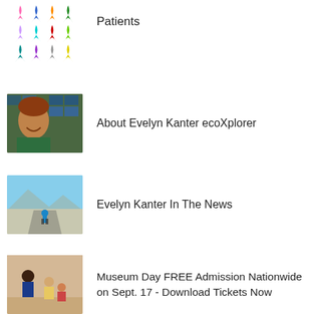[Figure (illustration): Grid of colorful cancer awareness ribbons in pink, blue, orange, green, yellow, purple, teal, red, multicolor, grey, lavender, and gold colors]
Patients
[Figure (photo): Portrait photo of Evelyn Kanter, a woman with curly reddish hair, smiling, wearing a green jacket, with TV monitors in background]
About Evelyn Kanter ecoXplorer
[Figure (photo): Outdoor photo of a person on a road with mountains and blue sky in the background]
Evelyn Kanter In The News
[Figure (photo): Photo of adults and children in what appears to be a museum or educational setting]
Museum Day FREE Admission Nationwide on Sept. 17 - Download Tickets Now